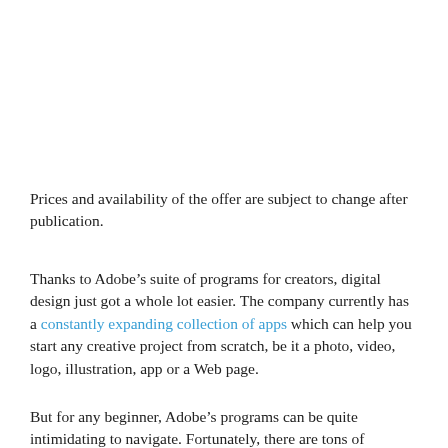Prices and availability of the offer are subject to change after publication.
Thanks to Adobe’s suite of programs for creators, digital design just got a whole lot easier. The company currently has a constantly expanding collection of apps which can help you start any creative project from scratch, be it a photo, video, logo, illustration, app or a Web page.
But for any beginner, Adobe’s programs can be quite intimidating to navigate. Fortunately, there are tons of